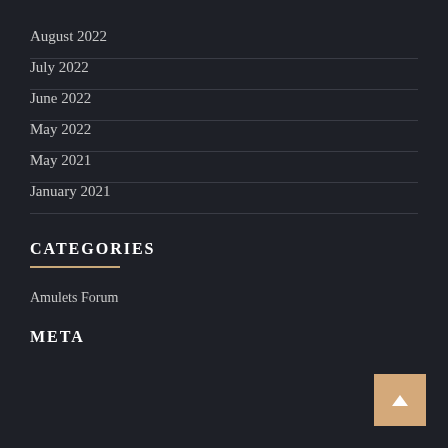August 2022
July 2022
June 2022
May 2022
May 2021
January 2021
CATEGORIES
Amulets Forum
META